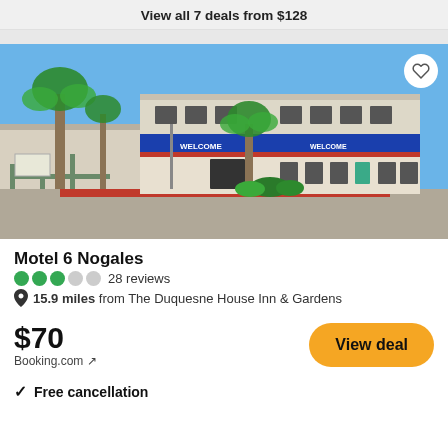View all 7 deals from $128
[Figure (photo): Exterior photo of Motel 6 Nogales, a two-story motel with blue signage reading WELCOME, palm trees, and a red-curbed parking area under a clear blue sky.]
Motel 6 Nogales
28 reviews
15.9 miles from The Duquesne House Inn & Gardens
$70
Booking.com ↗
View deal
✓ Free cancellation